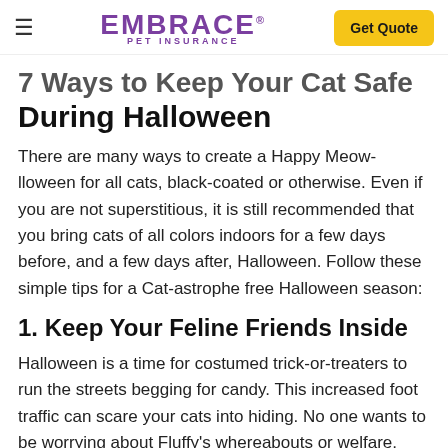≡  EMBRACE PET INSURANCE  Get Quote
7 Ways to Keep Your Cat Safe During Halloween
There are many ways to create a Happy Meow-lloween for all cats, black-coated or otherwise. Even if you are not superstitious, it is still recommended that you bring cats of all colors indoors for a few days before, and a few days after, Halloween. Follow these simple tips for a Cat-astrophe free Halloween season:
1. Keep Your Feline Friends Inside
Halloween is a time for costumed trick-or-treaters to run the streets begging for candy. This increased foot traffic can scare your cats into hiding. No one wants to be worrying about Fluffy's whereabouts or welfare,